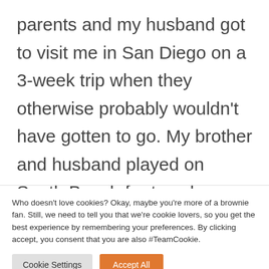parents and my husband got to visit me in San Diego on a 3-week trip when they otherwise probably wouldn't have gotten to go. My brother and husband played on South Beach for two days while I worked and hung out me me in the evenings.
Who doesn't love cookies? Okay, maybe you're more of a brownie fan. Still, we need to tell you that we're cookie lovers, so you get the best experience by remembering your preferences. By clicking accept, you consent that you are also #TeamCookie.